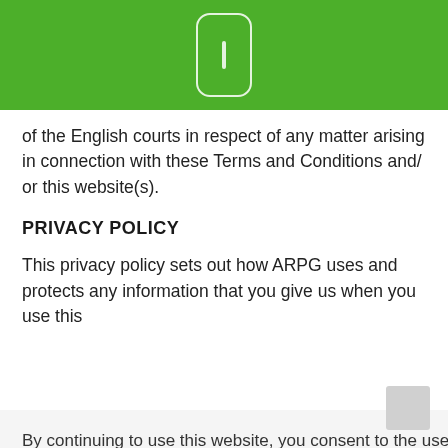of the English courts in respect of any matter arising in connection with these Terms and Conditions and/ or this website(s).
PRIVACY POLICY
This privacy policy sets out how ARPG uses and protects any information that you give us when you use this
By continuing to use this website, you consent to the use of cookies in accordance with our Cookie Policy, which can be found on our Privacy Policy
cy is n en using ill only be nt. ay be